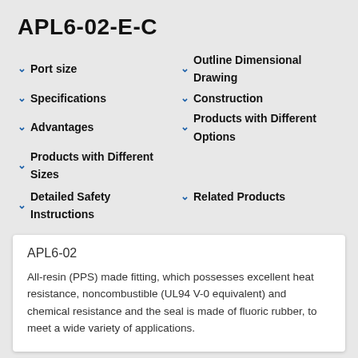APL6-02-E-C
Port size
Outline Dimensional Drawing
Specifications
Construction
Advantages
Products with Different Options
Products with Different Sizes
Detailed Safety Instructions
Related Products
APL6-02
All-resin (PPS) made fitting, which possesses excellent heat resistance, noncombustible (UL94 V-0 equivalent) and chemical resistance and the seal is made of fluoric rubber, to meet a wide variety of applications.
[Figure (photo): Photo of APL6-02 fitting product, a light gray/beige colored resin connector/fitting piece shown from above at an angle]